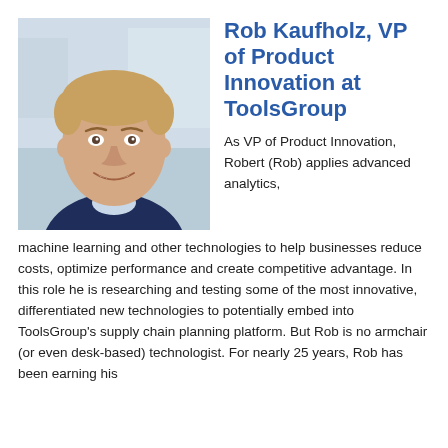[Figure (photo): Headshot photo of Rob Kaufholz, a man in a dark navy blazer with light blue shirt, smiling, with blurred office background]
Rob Kaufholz, VP of Product Innovation at ToolsGroup
As VP of Product Innovation, Robert (Rob) applies advanced analytics, machine learning and other technologies to help businesses reduce costs, optimize performance and create competitive advantage. In this role he is researching and testing some of the most innovative, differentiated new technologies to potentially embed into ToolsGroup's supply chain planning platform. But Rob is no armchair (or even desk-based) technologist. For nearly 25 years, Rob has been earning his